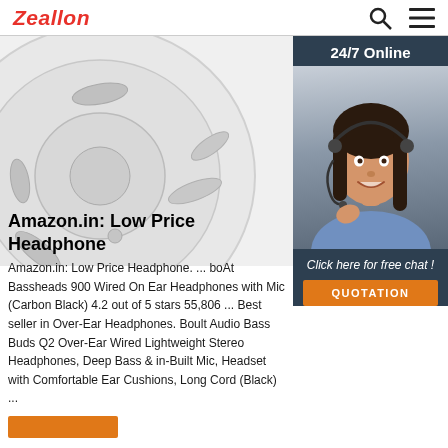Zeallon
[Figure (photo): Close-up photo of a white over-ear headphone ear cup, showing circular design with grey accent details and mesh areas. Bottom right corner shows a customer support widget with '24/7 Online' label and a woman wearing a headset smiling, with a 'Click here for free chat!' message and orange 'QUOTATION' button.]
Amazon.in: Low Price Headphone
Amazon.in: Low Price Headphone. ... boAt Bassheads 900 Wired On Ear Headphones with Mic (Carbon Black) 4.2 out of 5 stars 55,806 ... Best seller in Over-Ear Headphones. Boult Audio Bass Buds Q2 Over-Ear Wired Lightweight Stereo Headphones, Deep Bass & in-Built Mic, Headset with Comfortable Ear Cushions, Long Cord (Black) ...